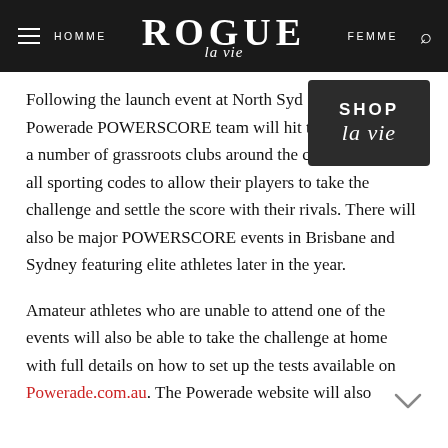HOMME | ROGUE la vie | FEMME
[Figure (logo): Shop la vie dark badge overlay in top right of content area]
Following the launch event at North Sydney, the Powerade POWERSCORE team will hit the road visiting a number of grassroots clubs around the country across all sporting codes to allow their players to take the challenge and settle the score with their rivals. There will also be major POWERSCORE events in Brisbane and Sydney featuring elite athletes later in the year.
Amateur athletes who are unable to attend one of the events will also be able to take the challenge at home with full details on how to set up the tests available on Powerade.com.au. The Powerade website will also